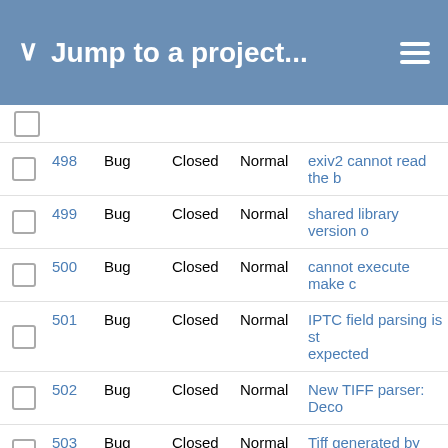Jump to a project...
|  | # | Type | Status | Priority | Subject |
| --- | --- | --- | --- | --- | --- |
|  | 498 | Bug | Closed | Normal | exiv2 cannot read the b... |
|  | 499 | Bug | Closed | Normal | shared library version o... |
|  | 500 | Bug | Closed | Normal | cannot execute make c... |
|  | 501 | Bug | Closed | Normal | IPTC field parsing is st... expected |
|  | 502 | Bug | Closed | Normal | New TIFF parser: Deco... |
|  | 503 | Bug | Closed | Normal | Tiff generated by photo... |
|  | 504 | Feature | Closed | Normal | exiv2 utility: allow use ... actions |
|  | 505 | Feature | New | Normal | Ability to extract some ... |
|  | 506 | Bug | Closed | Normal | Problem setting localed... |
|  | 507 | Bug | Closed | Normal | Exiv2 not reading RAF ... |
|  | 508 | Bug | Closed | Normal | Wrong rotationAngle ->... |